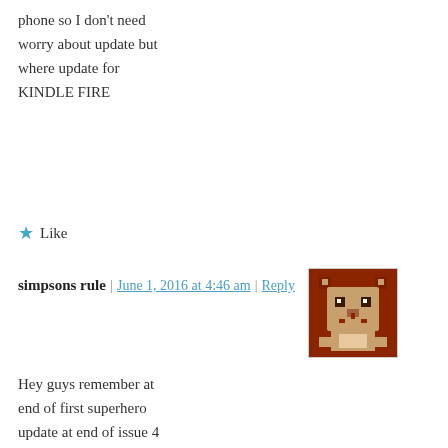phone so I don't need worry about update but where update for KINDLE FIRE
★ Like
simpsons rule | June 1, 2016 at 4:46 am | Reply
[Figure (illustration): Pixel art avatar of a brown bear/cat character on a reddish-brown background]
Hey guys remember at end of first superhero update at end of issue 4
•when radioactive man
Privacy & Cookies: This site uses cookies. By continuing to use this website, you agree to their use. To find out more, including how to control cookies, see here: Cookie Policy
Close and accept